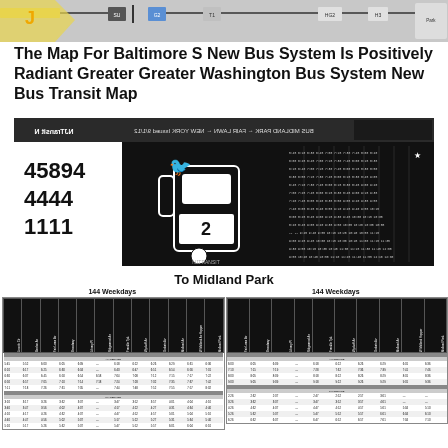[Figure (map): Partial transit map showing bus route segments with stop icons and route labels including SU, G2, T1, HG2, H3, and a Park endpoint]
The Map For Baltimore S New Bus System Is Positively Radiant Greater Greater Washington Bus System New Bus Transit Map
[Figure (illustration): Bus schedule cover image showing route numbers 45894, 4444, 1111 in large bold font, a NJ Transit bus icon, and reversed header text 'BUS MIDLAND PARK -> FAIR LAWN -> NEW YORK, Issued 9/1/12']
To Midland Park
144 Weekdays
[Figure (table-as-image): Bus schedule table for route 144 Weekdays showing departure times from multiple stops in columns with rotated stop name headers]
144 Weekdays
[Figure (table-as-image): Second bus schedule table for route 144 Weekdays showing additional departure times]